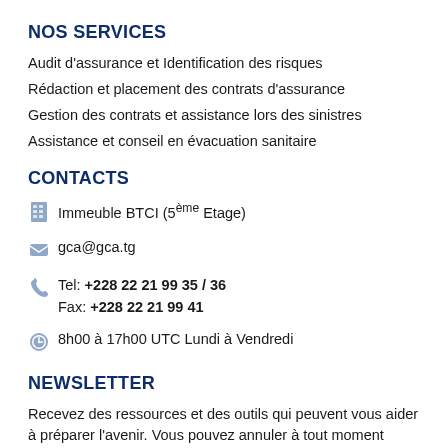NOS SERVICES
Audit d'assurance et Identification des risques
Rédaction et placement des contrats d'assurance
Gestion des contrats et assistance lors des sinistres
Assistance et conseil en évacuation sanitaire
CONTACTS
Immeuble BTCI (5ème Etage)
gca@gca.tg
Tel: +228 22 21 99 35 / 36
Fax: +228 22 21 99 41
8h00 à 17h00 UTC Lundi à Vendredi
NEWSLETTER
Recevez des ressources et des outils qui peuvent vous aider à préparer l'avenir. Vous pouvez annuler à tout moment